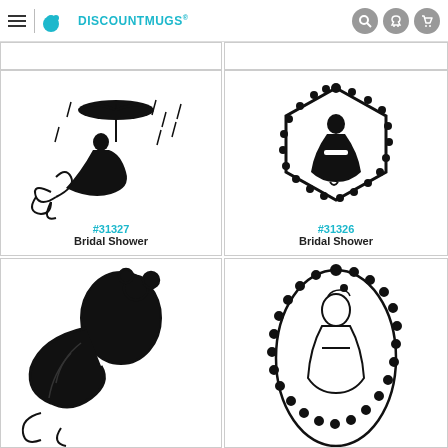DiscountMugs
[Figure (illustration): Partial top of two product cells, cut off]
[Figure (illustration): Black silhouette of woman in Victorian dress holding umbrella in rain with floral swirls, product #31327 Bridal Shower]
#31327
Bridal Shower
[Figure (illustration): Black silhouette of woman in gown inside hexagonal beaded frame, product #31326 Bridal Shower]
#31326
Bridal Shower
[Figure (illustration): Black illustration of woman's face with floral hair ornament and flowing hair]
[Figure (illustration): Black outline of woman in gown inside oval beaded frame]